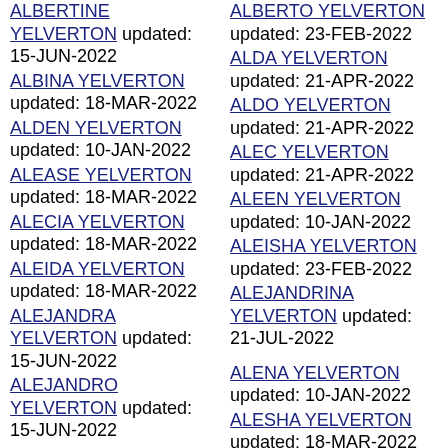ALBERTINE YELVERTON updated: 15-JUN-2022
ALBERTO YELVERTON updated: 23-FEB-2022
ALBINA YELVERTON updated: 18-MAR-2022
ALDA YELVERTON updated: 21-APR-2022
ALDEN YELVERTON updated: 10-JAN-2022
ALDO YELVERTON updated: 21-APR-2022
ALEASE YELVERTON updated: 18-MAR-2022
ALEC YELVERTON updated: 21-APR-2022
ALECIA YELVERTON updated: 18-MAR-2022
ALEEN YELVERTON updated: 10-JAN-2022
ALEIDA YELVERTON updated: 18-MAR-2022
ALEISHA YELVERTON updated: 23-FEB-2022
ALEJANDRA YELVERTON updated: 15-JUN-2022
ALEJANDRINA YELVERTON updated: 21-JUL-2022
ALEJANDRO YELVERTON updated: 15-JUN-2022
ALENA YELVERTON updated: 10-JAN-2022
ALENE YELVERTON updated: 18-MAR-2022
ALESHA YELVERTON updated: 18-MAR-2022